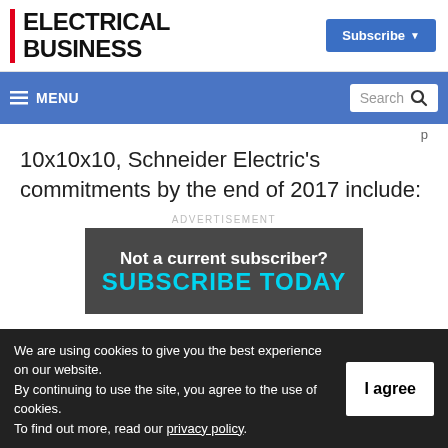ELECTRICAL BUSINESS
Subscribe
≡ MENU  Search
10x10x10, Schneider Electric's commitments by the end of 2017 include:
ADVERTISEMENT
[Figure (other): Advertisement banner: Not a current subscriber? SUBSCRIBE TODAY]
We are using cookies to give you the best experience on our website. By continuing to use the site, you agree to the use of cookies. To find out more, read our privacy policy.
I agree